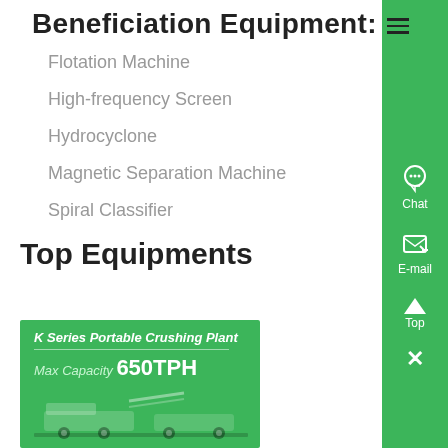Beneficiation Equipment:
Flotation Machine
High-frequency Screen
Hydrocyclone
Magnetic Separation Machine
Spiral Classifier
Top Equipments
[Figure (photo): K Series Portable Crushing Plant advertisement banner with green background. Text reads 'K Series Portable Crushing Plant' and 'Max Capacity 650TPH' with machinery image at the bottom.]